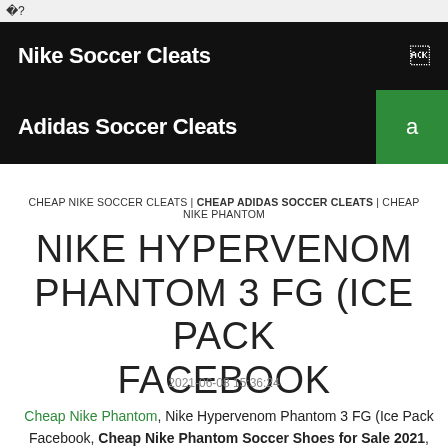? ?
Nike Soccer Cleats
Adidas Soccer Cleats
CHEAP NIKE SOCCER CLEATS | CHEAP ADIDAS SOCCER CLEATS | CHEAP NIKE PHANTOM
NIKE HYPERVENOM PHANTOM 3 FG (ICE PACK FACEBOOK
2021-06-08 15:36:24
Cheap Nike Phantom, Nike Hypervenom Phantom 3 FG (Ice Pack Facebook, Cheap Nike Phantom Soccer Shoes for Sale 2021, Welcome to buy cheap Phantom Online. we offer Cheapest Authentic Real Nike Phantom Soccer Cleats Outlet Online, Buy